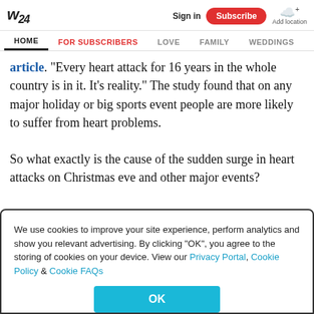W24 | Sign in | Subscribe | Add location
HOME | FOR SUBSCRIBERS | LOVE | FAMILY | WEDDINGS
article. “Every heart attack for 16 years in the whole country is in it. It’s reality.” The study found that on any major holiday or big sports event people are more likely to suffer from heart problems.

So what exactly is the cause of the sudden surge in heart attacks on Christmas eve and other major events?
We use cookies to improve your site experience, perform analytics and show you relevant advertising. By clicking “OK”, you agree to the storing of cookies on your device. View our Privacy Portal, Cookie Policy & Cookie FAQs